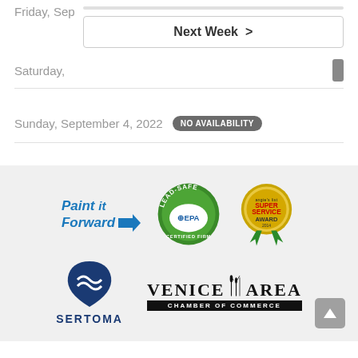Friday, Sep…
Next Week >
Saturday,
Sunday, September 4, 2022  NO AVAILABILITY
[Figure (logo): Paint it Forward logo with blue italic text and arrow]
[Figure (logo): Lead-Safe EPA Certified Firm green oval badge]
[Figure (logo): Angie's List Super Service Award gold medallion badge]
[Figure (logo): Sertoma organization logo with blue emblem and text]
[Figure (logo): Venice Area Chamber of Commerce logo with cattails and black banner]